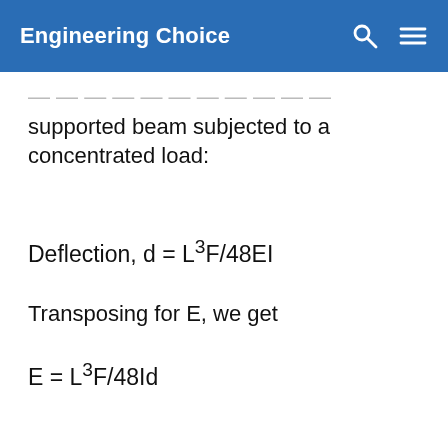Engineering Choice
supported beam subjected to a concentrated load:
Transposing for E, we get